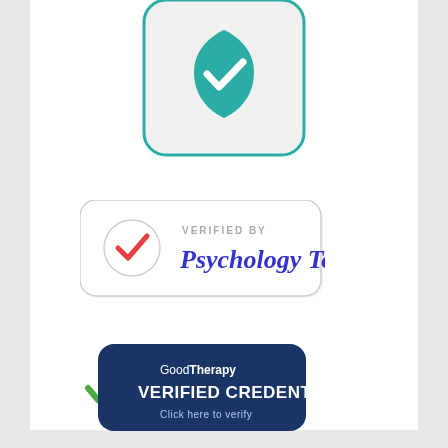[Figure (logo): Teal shield with white checkmark inside a rounded rectangle, partially visible at top of page]
[Figure (logo): Psychology Today verified badge - white rounded rectangle with red checkmark and blue text reading VERIFIED BY Psychology Today]
[Figure (logo): GoodTherapy Verified Credentials badge - dark navy blue pill shape with green checkmark, white text reading GoodTherapy VERIFIED CREDENTIALS Click here to verify]